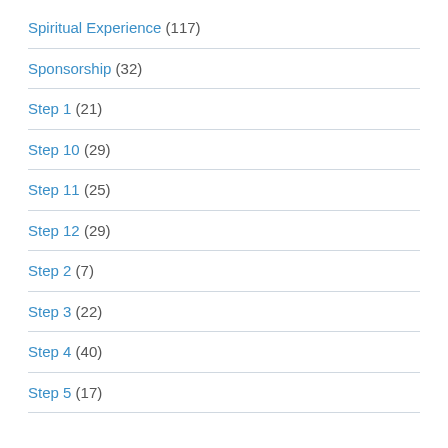Spiritual Experience (117)
Sponsorship (32)
Step 1 (21)
Step 10 (29)
Step 11 (25)
Step 12 (29)
Step 2 (7)
Step 3 (22)
Step 4 (40)
Step 5 (17)